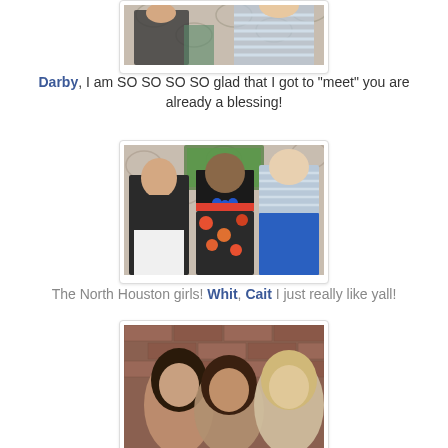[Figure (photo): Two women posing indoors, one in a patterned outfit and one in a light blue striped top, against a decorative wall background.]
Darby, I am SO SO SO SO glad that I got to "meet" you are already a blessing!
[Figure (photo): Three young women posing together indoors with a TV screen in the background. Left woman in black vest and white pants, middle woman in black top with blue necklace and floral skirt with red belt, right woman in light blue sleeveless top and blue skirt.]
The North Houston girls! Whit, Cait I just really like yall!
[Figure (photo): Three women posing together, partially visible, with a brick wall background.]